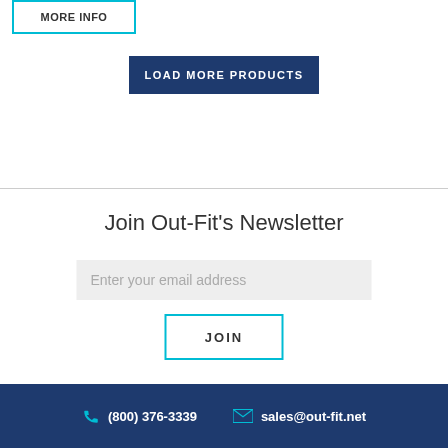MORE INFO
LOAD MORE PRODUCTS
Join Out-Fit's Newsletter
Enter your email address
JOIN
(800) 376-3339  sales@out-fit.net